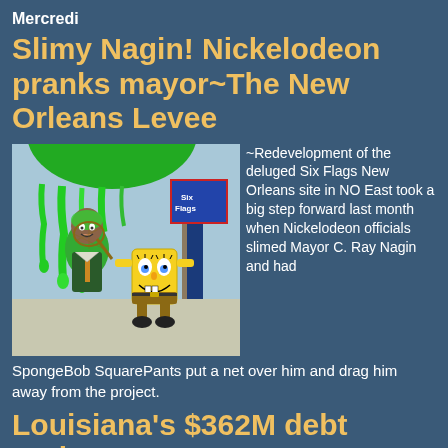Mercredi
Slimy Nagin! Nickelodeon pranks mayor~The New Orleans Levee
[Figure (photo): A composite/humorous image showing a man covered in green slime outdoors near a Six Flags New Orleans sign, with a SpongeBob SquarePants cartoon character holding a net superimposed on the photo.]
~Redevelopment of the deluged Six Flags New Orleans site in NO East took a big step forward last month when Nickelodeon officials slimed Mayor C. Ray Nagin and had SpongeBob SquarePants put a net over him and drag him away from the project.
Louisiana's $362M debt notice